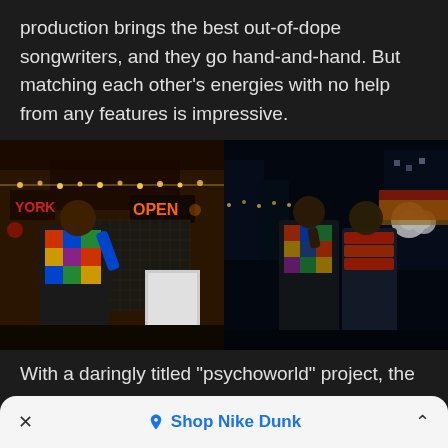production brings the best out-of-dope songwriters, and they go hand-and-hand. But matching each other's energies with no help from any features is impressive.
[Figure (photo): Two side-by-side photos: left shows a man in a colorful patchwork jacket posing in front of a store with an OPEN neon sign and string lights; right shows two men in matching patchwork jackets standing outdoors at night with city lights in the background.]
With a daringly titled "psychoworld" project, the music does exactly that. Justend doesn't shy away from being vulnerable
Shop Nike Dunk